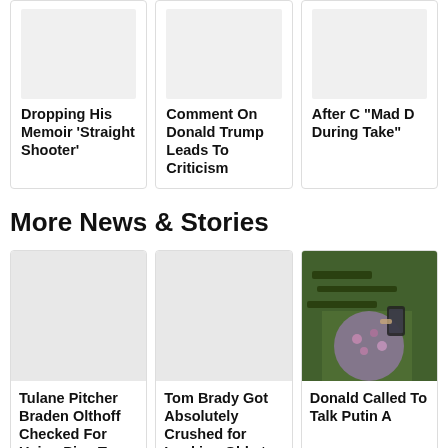Dropping His Memoir ‘Straight Shooter’
Comment On Donald Trump Leads To Criticism
After C “Mad D During Take”
More News & Stories
[Figure (photo): Empty white card image placeholder]
Tulane Pitcher Braden Olthoff Checked For Using Pine Tar Because His Pitches Were Beyond Filthy
[Figure (photo): Empty white card image placeholder]
Tom Brady Got Absolutely Crushed for Looking Old at Bruce Arians Retirement Press
[Figure (photo): Outdoor photo of person in floral top holding a phone]
Donald Called To Talk Putin A